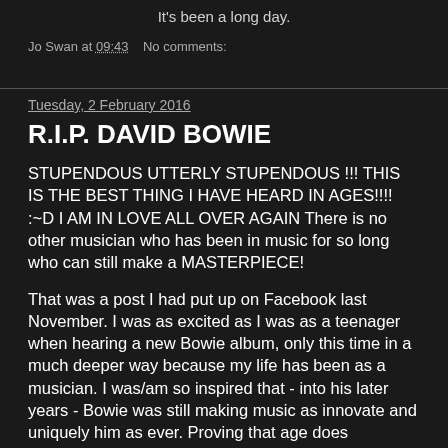It's been a long day.
Jo Swan at 09:43    No comments:
Tuesday, 2 February 2016
R.I.P. DAVID BOWIE
STUPENDOUS UTTERLY STUPENDOUS !!! THIS IS THE BEST THING I HAVE HEARD IN AGES!!!! :~D I AM IN LOVE ALL OVER AGAIN There is no other musician who has been in music for so long who can still make a MASTERPIECE!
That was a post I had put up on Facebook last November. I was as excited as I was as a teenager when hearing a new Bowie album, only this time in a much deeper way because my life has been as a musician. I was/am so inspired that - into his later years - Bowie was still making music as innovate and uniquely him as ever. Proving that age does not dull creativity in the right hands and art sits it in to